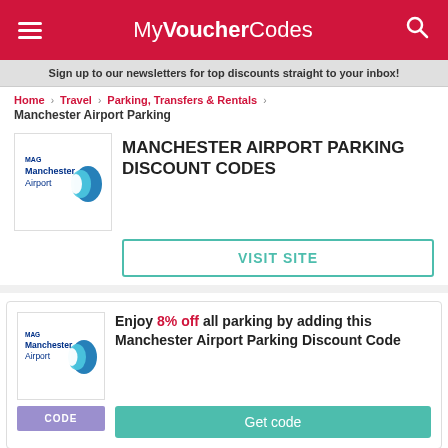MyVoucherCodes
Sign up to our newsletters for top discounts straight to your inbox!
Home › Travel › Parking, Transfers & Rentals › Manchester Airport Parking
MANCHESTER AIRPORT PARKING DISCOUNT CODES
[Figure (logo): MAG Manchester Airport logo]
VISIT SITE
Enjoy 8% off all parking by adding this Manchester Airport Parking Discount Code
[Figure (logo): MAG Manchester Airport logo]
Get code
CODE